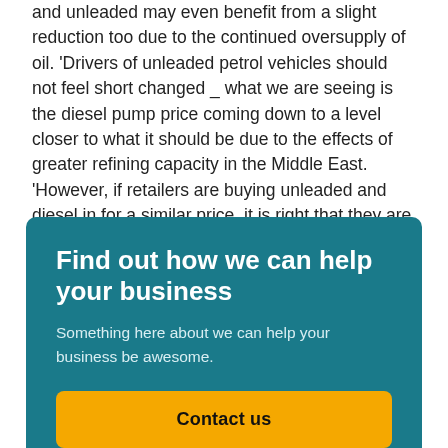and unleaded may even benefit from a slight reduction too due to the continued oversupply of oil. 'Drivers of unleaded petrol vehicles should not feel short changed _ what we are seeing is the diesel pump price coming down to a level closer to what it should be due to the effects of greater refining capacity in the Middle East. 'However, if retailers are buying unleaded and diesel in for a similar price, it is right that they are sold on to motorists at a similar price, or cheaper if the diesel wholesale price is lower.î
Find out how we can help your business
Something here about we can help your business be awesome.
Contact us